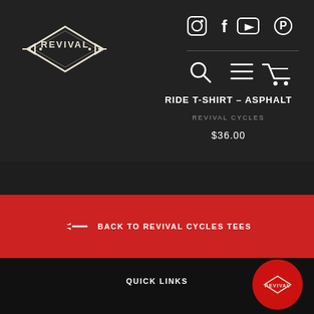[Figure (logo): Revival Cycles diamond-shaped logo with arrows on left and right sides]
[Figure (infographic): Social media icons row: Instagram, Facebook, YouTube, Pinterest]
[Figure (infographic): Navigation icons: search magnifying glass, hamburger menu, shopping cart]
RIDE T-SHIRT - ASPHALT
REVIVAL CYCLES
$36.00
← BACK TO REVIVAL CYCLES TEES
QUICK LINKS
[Figure (logo): Revival Cycles small logo inside red circular button]